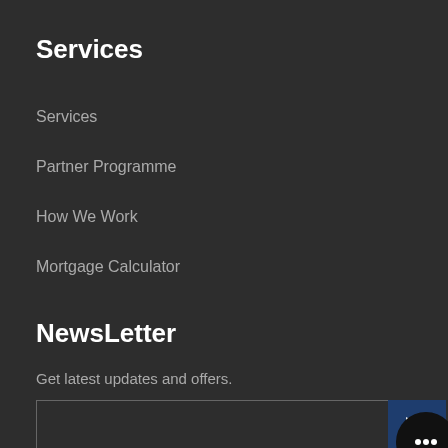Services
Services
Partner Programme
How We Work
Mortgage Calculator
NewsLetter
Get latest updates and offers.
[Figure (other): Email input field with send button (paper plane icon) and chat bubble widget]